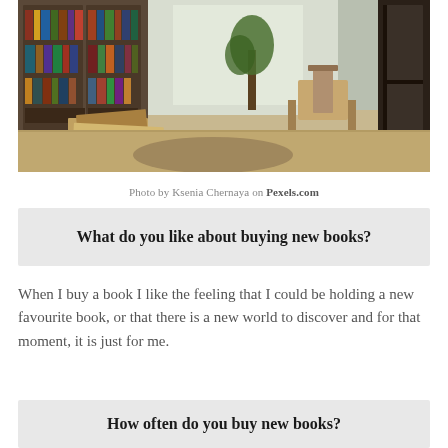[Figure (photo): Interior of a bookstore with floor-to-ceiling bookshelves filled with books on the left, a large glass window with natural light in the center-background, a small tree/plant, wooden tables and chairs, and wooden structures on the right side.]
Photo by Ksenia Chernaya on Pexels.com
What do you like about buying new books?
When I buy a book I like the feeling that I could be holding a new favourite book, or that there is a new world to discover and for that moment, it is just for me.
How often do you buy new books?